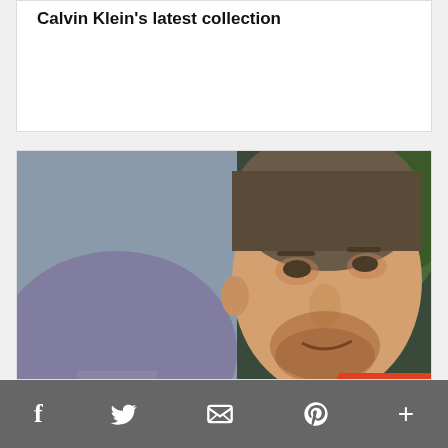Calvin Klein's latest collection
[Figure (photo): Photo of David Beckham, man with short grey-brown hair and stubble, looking to the side, with a blurred outdoor background. An orange speech bubble overlay reads '8 comments'.]
money talks
David Beckham gushes over Qatar in cringey new video and the responses are brutal
f  [Twitter bird]  [envelope]  [Pinterest P]  +